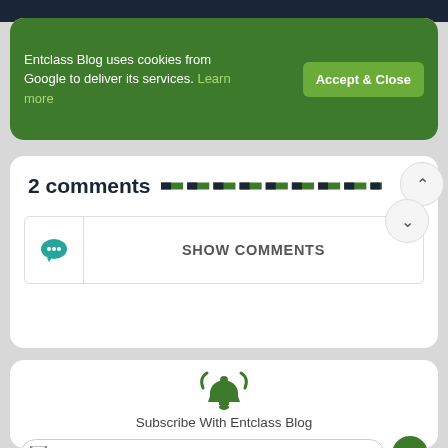[Figure (screenshot): Cookie consent banner with green background: 'Entclass Blog uses cookies from Google to deliver its services. Learn more' with 'Accept & Close' button]
2 comments
SHOW COMMENTS
[Figure (illustration): Green bell icon with notification rings]
Subscribe With Entclass Blog
nama@mail.com